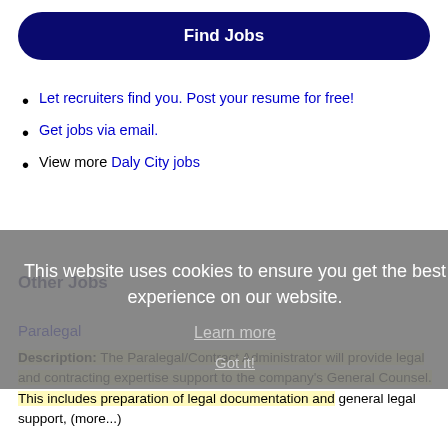Find Jobs
Let recruiters find you. Post your resume for free!
Get jobs via email.
View more Daly City jobs
This website uses cookies to ensure you get the best experience on our website.
Learn more
Got it!
Other Jobs
Paralegal
Description: The Paralegal/Contract Administrator will provide legal and contracting expertise support to the company's General Counsel. This includes preparation of legal documentation and general legal support, (more...)